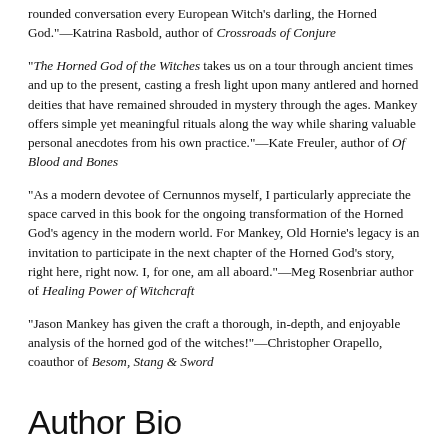rounded conversation every European Witch's darling, the Horned God."—Katrina Rasbold, author of Crossroads of Conjure
"The Horned God of the Witches takes us on a tour through ancient times and up to the present, casting a fresh light upon many antlered and horned deities that have remained shrouded in mystery through the ages. Mankey offers simple yet meaningful rituals along the way while sharing valuable personal anecdotes from his own practice."—Kate Freuler, author of Of Blood and Bones
"As a modern devotee of Cernunnos myself, I particularly appreciate the space carved in this book for the ongoing transformation of the Horned God's agency in the modern world. For Mankey, Old Hornie's legacy is an invitation to participate in the next chapter of the Horned God's story, right here, right now. I, for one, am all aboard."—Meg Rosenbriar author of Healing Power of Witchcraft
"Jason Mankey has given the craft a thorough, in-depth, and enjoyable analysis of the horned god of the witches!"—Christopher Orapello, coauthor of Besom, Stang & Sword
Author Bio